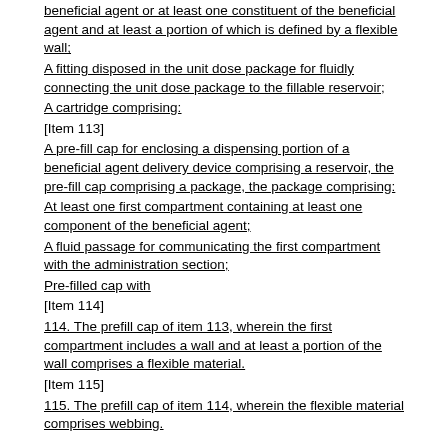beneficial agent or at least one constituent of the beneficial agent and at least a portion of which is defined by a flexible wall;
A fitting disposed in the unit dose package for fluidly connecting the unit dose package to the fillable reservoir;
A cartridge comprising:
[Item 113]
A pre-fill cap for enclosing a dispensing portion of a beneficial agent delivery device comprising a reservoir, the pre-fill cap comprising a package, the package comprising:
At least one first compartment containing at least one component of the beneficial agent;
A fluid passage for communicating the first compartment with the administration section;
Pre-filled cap with
[Item 114]
114. The prefill cap of item 113, wherein the first compartment includes a wall and at least a portion of the wall comprises a flexible material.
[Item 115]
115. The prefill cap of item 114, wherein the flexible material comprises webbing.